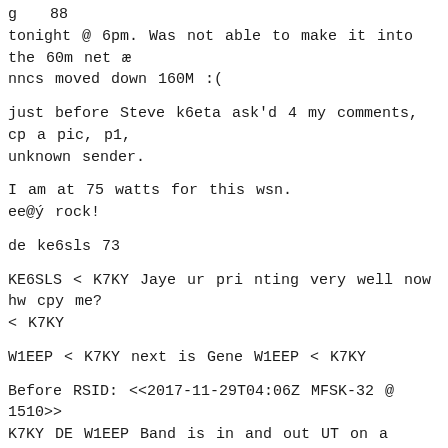g  88
tonight @ 6pm. Was not able to make it into the 60m net æ nncs moved down 160M :(
just before Steve k6eta ask'd 4 my comments, cp a pic, p1, unknown sender.
I am at 75 watts for this wsn.
ee@ý rock!
de ke6sls 73
KE6SLS < K7KY Jaye ur pri nting very well now hw cpy me? < K7KY
W1EEP < K7KY next is Gene W1EEP < K7KY
Before RSID: <<2017-11-29T04:06Z MFSK-32 @ 1510>>
K7KY DE W1EEP Band is in and out UT on a roll. Perfect picture by Ken KR7KR nice group tonight thanks for the net 73"s